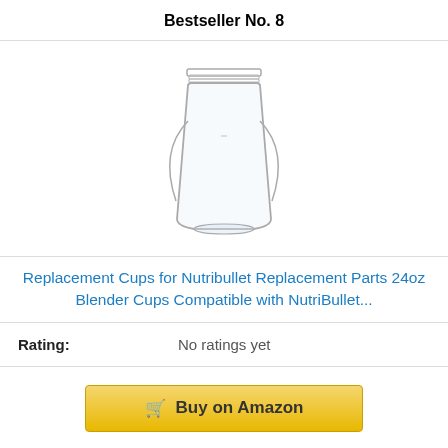Bestseller No. 8
[Figure (photo): A clear plastic tall blender cup with threaded top rim, compatible with NutriBullet blenders. The cup is transparent and tapers toward the bottom.]
Replacement Cups for Nutribullet Replacement Parts 24oz Blender Cups Compatible with NutriBullet...
Rating: No ratings yet
Buy on Amazon